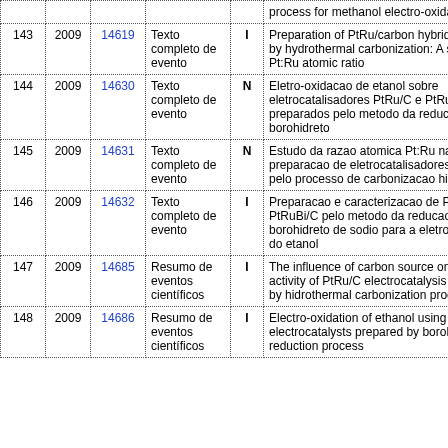| # | Year | ID | Type | N/I | Title |
| --- | --- | --- | --- | --- | --- |
|  |  |  |  |  | process for methanol electro-oxidation |
| 143 | 2009 | 14619 | Texto completo de evento | I | Preparation of PtRu/carbon hybrid materials by hydrothermal carbonization: A study of the Pt:Ru atomic ratio |
| 144 | 2009 | 14630 | Texto completo de evento | N | Eletro-oxidacao de etanol sobre eletrocatalisadores PtRu/C e PtRuBi/C preparados pelo metodo da reducao via borohidreto |
| 145 | 2009 | 14631 | Texto completo de evento | N | Estudo da razao atomica Pt:Ru na preparacao de eletrocatalisadores PtRu/C pelo processo de carbonizacao hidrotermica |
| 146 | 2009 | 14632 | Texto completo de evento | I | Preparacao e caracterizacao de PtRu/C e PtRuBi/C pelo metodo da reducao via borohidreto de sodio para a eletro-oxidacao do etanol |
| 147 | 2009 | 14685 | Resumo de eventos científicos | I | The influence of carbon source on the activity of PtRu/C electrocatalysis prepared by hidrothermal carbonization process |
| 148 | 2009 | 14686 | Resumo de eventos científicos | I | Electro-oxidation of ethanol using PtSnBi/C electrocatalysts prepared by borohydride reduction process |